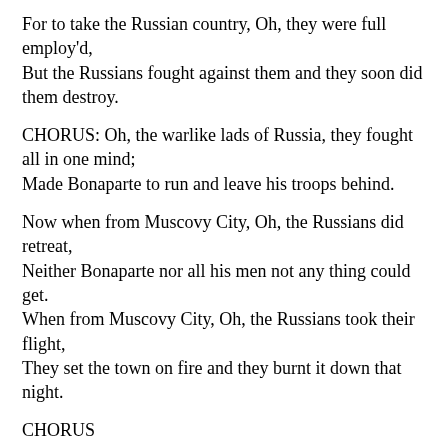For to take the Russian country, Oh, they were full employ'd,
But the Russians fought against them and they soon did them destroy.
CHORUS: Oh, the warlike lads of Russia, they fought all in one mind;
Made Bonaparte to run and leave his troops behind.
Now when from Muscovy City, Oh, the Russians did retreat,
Neither Bonaparte nor all his men not any thing could get.
When from Muscovy City, Oh, the Russians took their flight,
They set the town on fire and they burnt it down that night.
CHORUS
Now in a little while, Oh the Russians did attack,
Against Bonaparte and all his men, they kill'd and took and drove 'em back.
But the action being so hot, from right and left and front and rear,
Oh, damn you, says poor Bonaparte, I'll stay no longer here.
CHORUS
And away then went poor Bonaparte as fast as he could ride.
And the poor Frenchmen looked after him, saying, Oh it's very